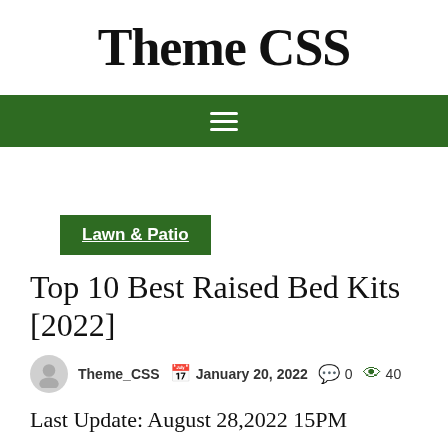Theme CSS
[Figure (other): Green navigation bar with hamburger menu icon (three horizontal white lines)]
Lawn & Patio
Top 10 Best Raised Bed Kits [2022]
Theme_CSS   January 20, 2022   0   40
Last Update: August 28,2022 15PM